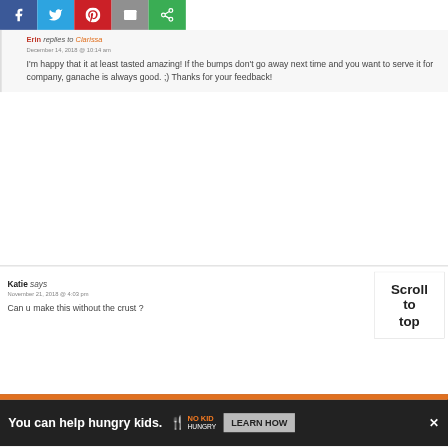[Figure (screenshot): Social media share bar with Facebook, Twitter, Pinterest, Email, and another share button icons]
Erin replies to Clarissa
December 14, 2018 @ 10:14 am

I'm happy that it at least tasted amazing! If the bumps don't go away next time and you want to serve it for company, ganache is always good. ;) Thanks for your feedback!
Katie says
November 21, 2018 @ 4:03 pm

Can u make this without the crust ?
Scroll to top
You can help hungry kids. NO KID HUNGRY LEARN HOW